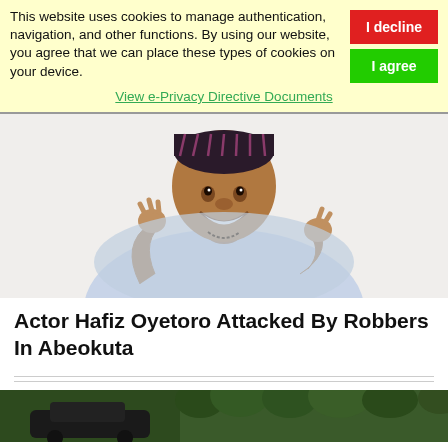This website uses cookies to manage authentication, navigation, and other functions. By using our website, you agree that we can place these types of cookies on your device.
View e-Privacy Directive Documents
[Figure (photo): Smiling man wearing a dark patterned cap and light blue traditional Nigerian agbada garment, posing with hands raised in a cheerful gesture against white background]
Actor Hafiz Oyetoro Attacked By Robbers In Abeokuta
[Figure (photo): Partial view of outdoor scene with greenery and dark vehicle, cropped at bottom of page]